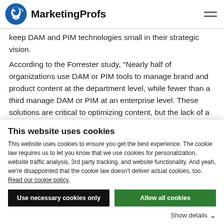MarketingProfs
keep DAM and PIM technologies small in their strategic vision.
According to the Forrester study, "Nearly half of organizations use DAM or PIM tools to manage brand and product content at the department level, while fewer than a third manage DAM or PIM at an enterprise level. These solutions are critical to optimizing content, but the lack of a holistic strategy puts organizations at risk of creating
This website uses cookies
This website uses cookies to ensure you get the best experience. The cookie law requires us to let you know that we use cookies for personalization, website traffic analysis, 3rd party tracking, and website functionality. And yeah, we're disappointed that the cookie law doesn't deliver actual cookies, too. Read our cookie policy.
Use necessary cookies only
Allow all cookies
Show details